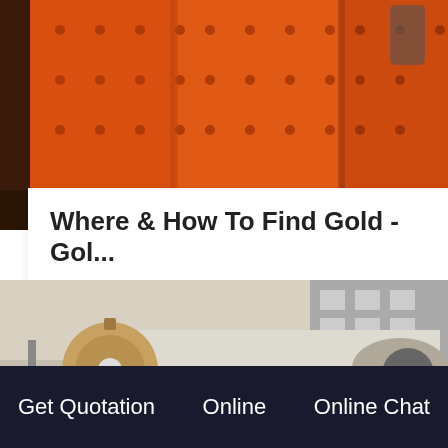[Figure (photo): Orange industrial mining machinery (ball mills) with riveted cylindrical drums, photographed close-up]
Where & How To Find Gold - Gol...
Where To Find Placer Gold - Quick Gold Prospecting Tips Where do I find natural placer gold and gold
GET PRICE
[Figure (photo): Large white/cream colored industrial ball mill machinery with gears, outdoors near a building]
Get Quotation   Online   Online Chat